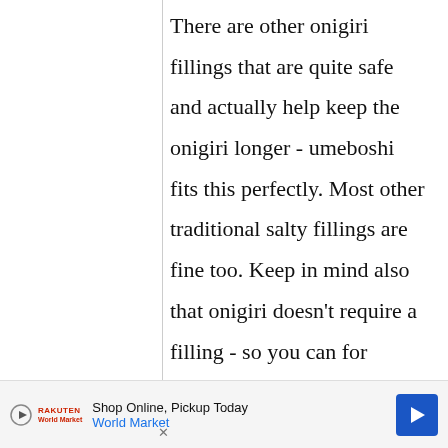There are other onigiri fillings that are quite safe and actually help keep the onigiri longer - umeboshi fits this perfectly. Most other traditional salty fillings are fine too. Keep in mind also that onigiri doesn't require a filling - so you can for instance bring
[Figure (other): Advertisement banner at bottom: 'Shop Online, Pickup Today - World Market' with play icon, logo, and blue arrow navigation icon]